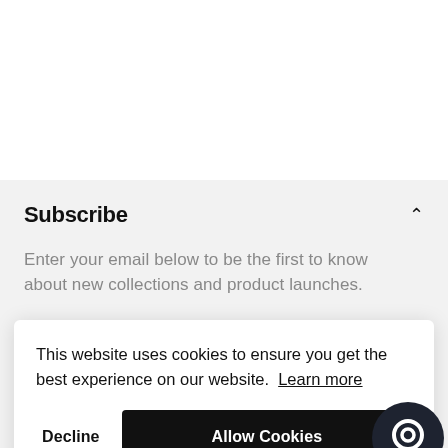Subscribe
Enter your email below to be the first to know about new collections and product launches.
This website uses cookies to ensure you get the best experience on our website. Learn more
Decline
Allow Cookies